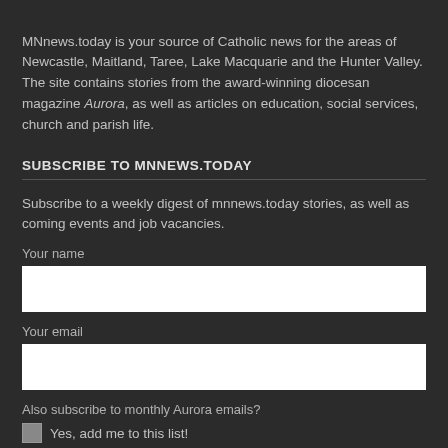MNnews.today is your source of Catholic news for the areas of Newcastle, Maitland, Taree, Lake Macquarie and the Hunter Valley. The site contains stories from the award-winning diocesan magazine Aurora, as well as articles on education, social services, church and parish life.
SUBSCRIBE TO MNNEWS.TODAY
Subscribe to a weekly digest of mnnews.today stories, as well as coming events and job vacancies.
Your name
Your email
Also subscribe to monthly Aurora emails?
Yes, add me to this list!